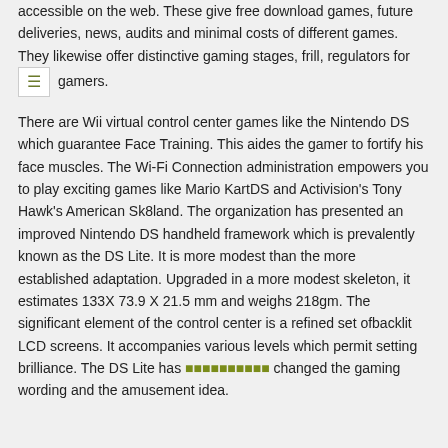accessible on the web. These give free download games, future deliveries, news, audits and minimal costs of different games. They likewise offer distinctive gaming stages, frill, regulators for gamers.
There are Wii virtual control center games like the Nintendo DS which guarantee Face Training. This aides the gamer to fortify his face muscles. The Wi-Fi Connection administration empowers you to play exciting games like Mario KartDS and Activision's Tony Hawk's American Sk8land. The organization has presented an improved Nintendo DS handheld framework which is prevalently known as the DS Lite. It is more modest than the more established adaptation. Upgraded in a more modest skeleton, it estimates 133X 73.9 X 21.5 mm and weighs 218gm. The significant element of the control center is a refined set ofbacklit LCD screens. It accompanies various levels which permit setting brilliance. The DS Lite has [highlighted text] changed the gaming wording and the amusement idea.